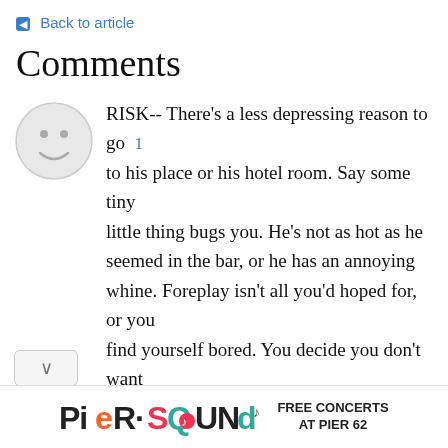← Back to article
Comments
RISK-- There's a less depressing reason to go 1 to his place or his hotel room. Say some tiny little thing bugs you. He's not as hot as he seemed in the bar, or he has an annoying whine. Foreplay isn't all you'd hoped for, or you find yourself bored. You decide you don't want to spend as much time with him as you initially hoped-- or, more importantly, as much time as he initially hoped. Which is easier, for you to get up, gather your things and go home, or for you to convince him to
[Figure (infographic): Advertisement banner for Pier Sounds: colorful logo text 'PieR·SQUNds' with FREE CONCERTS AT PIER 62 text beside it]